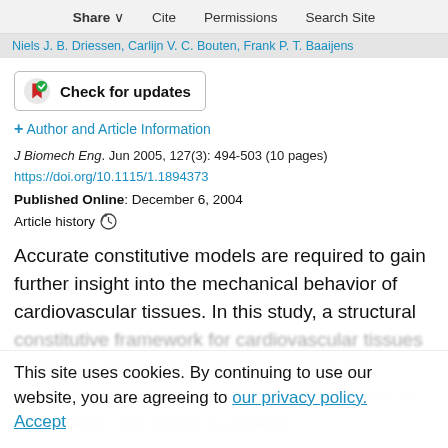Share  Cite  Permissions  Search Site
Niels J. B. Driessen, Carlijn V. C. Bouten, Frank P. T. Baaijens
[Figure (other): Check for updates badge button with circular icon]
+ Author and Article Information
J Biomech Eng. Jun 2005, 127(3): 494-503 (10 pages)
https://doi.org/10.1115/1.1894373
Published Online: December 6, 2004
Article history ⊙
Accurate constitutive models are required to gain further insight into the mechanical behavior of cardiovascular tissues. In this study, a structural
constitutive framework for cardiovascular tissues is introduced that accounts for the angular distribution of collagen fibers. To demonstrate its capabilities, the model is applied
This site uses cookies. By continuing to use our website, you are agreeing to our privacy policy.
Accept